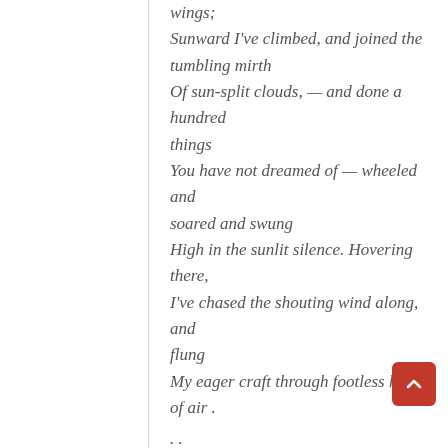wings;
Sunward I've climbed, and joined the tumbling mirth
Of sun-split clouds, — and done a hundred things
You have not dreamed of — wheeled and soared and swung
High in the sunlit silence. Hovering there,
I've chased the shouting wind along, and flung
My eager craft through footless halls of air .
. .
Up, up the long, delirious burning blue
I've topped the wind-swept heights with easy grace
Where never lark, or ever eagle flew —